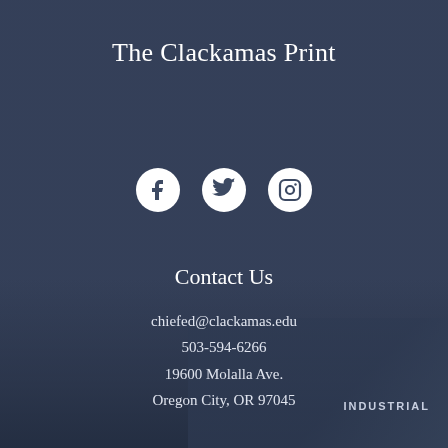The Clackamas Print
[Figure (infographic): Three social media icons: Facebook (circle with f), Twitter (bird), and Instagram (camera outline), displayed as white icons on white circles against the dark blue background.]
Contact Us
chiefed@clackamas.edu
503-594-6266
19600 Molalla Ave.
Oregon City, OR 97045
Links
About